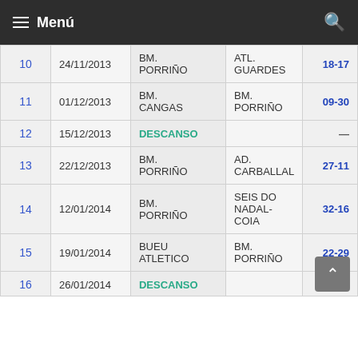≡ Menú
| # | Date | Home | Away | Score |
| --- | --- | --- | --- | --- |
| 10 | 24/11/2013 | BM. PORRIÑO | ATL. GUARDES | 18-17 |
| 11 | 01/12/2013 | BM. CANGAS | BM. PORRIÑO | 09-30 |
| 12 | 15/12/2013 | DESCANSO |  | — |
| 13 | 22/12/2013 | BM. PORRIÑO | AD. CARBALLAL | 27-11 |
| 14 | 12/01/2014 | BM. PORRIÑO | SEIS DO NADAL-COIA | 32-16 |
| 15 | 19/01/2014 | BUEU ATLETICO | BM. PORRIÑO | 22-29 |
| 16 | 26/01/2014 | DESCANSO |  |  |